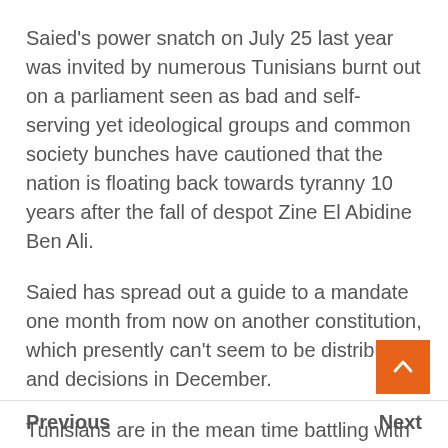Saied's power snatch on July 25 last year was invited by numerous Tunisians burnt out on a parliament seen as bad and self-serving yet ideological groups and common society bunches have cautioned that the nation is floating back towards tyranny 10 years after the fall of despot Zine El Abidine Ben Ali.
Saied has spread out a guide to a mandate one month from now on another constitution, which presently can't seem to be distributed, and decisions in December.
Tunisians are in the mean time battling with high joblessness, expansion and food deficiencies, disturbed by the conflict in Ukraine.
Previous    Next